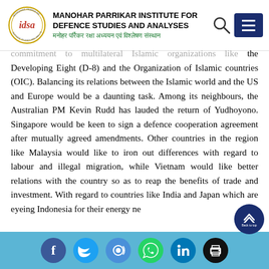MANOHAR PARRIKAR INSTITUTE FOR DEFENCE STUDIES AND ANALYSES
commitment to multilateral Islamic organizations like the Developing Eight (D-8) and the Organization of Islamic countries (OIC). Balancing its relations between the Islamic world and the US and Europe would be a daunting task. Among its neighbours, the Australian PM Kevin Rudd has lauded the return of Yudhoyono. Singapore would be keen to sign a defence cooperation agreement after mutually agreed amendments. Other countries in the region like Malaysia would like to iron out differences with regard to labour and illegal migration, while Vietnam would like better relations with the country so as to reap the benefits of trade and investment. With regard to countries like India and Japan which are eyeing Indonesia for their energy ne...
Social media links: Facebook, Twitter, Email, WhatsApp, LinkedIn, Print